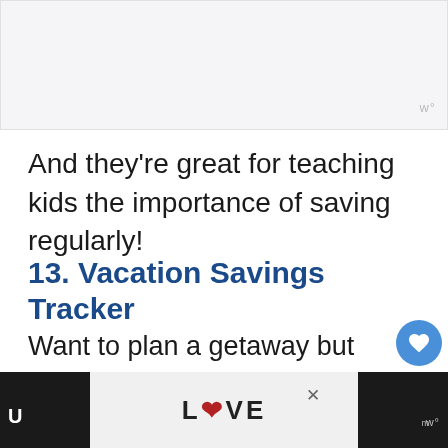[Figure (other): Gray/white image placeholder area at the top of the page]
And they're great for teaching kids the importance of saving regularly!
13. Vacation Savings Tracker
Want to plan a getaway but don't want to blow your budget?
LOVE advertisement banner at bottom with close button